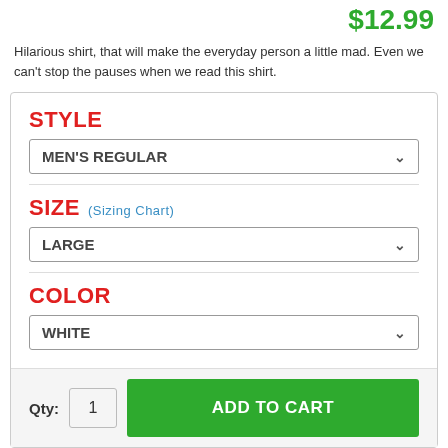$12.99
Hilarious shirt, that will make the everyday person a little mad. Even we can't stop the pauses when we read this shirt.
STYLE
MEN'S REGULAR
SIZE (Sizing Chart)
LARGE
COLOR
WHITE
Qty: 1  ADD TO CART